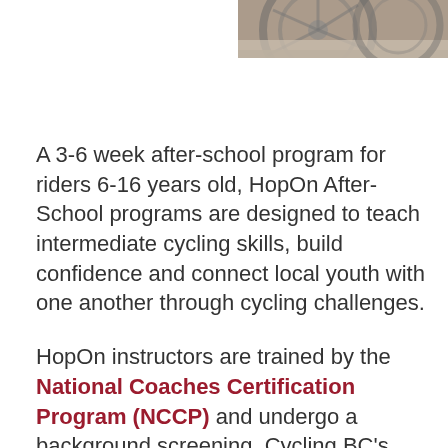[Figure (photo): Partial photo of bicycle wheel/tire on ground surface, positioned in top-right corner]
A 3-6 week after-school program for riders 6-16 years old, HopOn After-School programs are designed to teach intermediate cycling skills, build confidence and connect local youth with one another through cycling challenges.
HopOn instructors are trained by the National Coaches Certification Program (NCCP) and undergo a background screening. Cycling BC's HopOn program subscribes to the Coaches Association of Canada's Responsible Coaches Movement. It also follows the High Five: Healthy Child